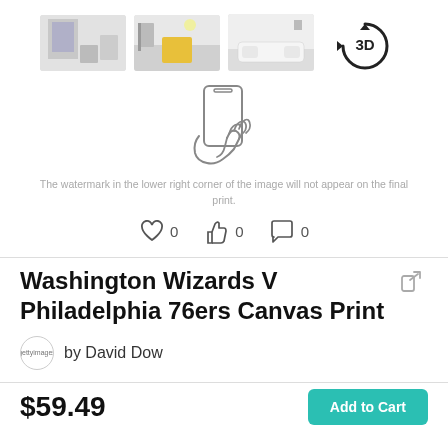[Figure (photo): Four thumbnail images showing canvas print in room settings and a 3D view button]
[Figure (illustration): Hand holding a smartphone icon (AR view indicator)]
The watermark in the lower right corner of the image will not appear on the final print.
[Figure (infographic): Social interaction icons: heart (0), thumbs up (0), comment (0)]
Washington Wizards V Philadelphia 76ers Canvas Print
by David Dow
$59.49